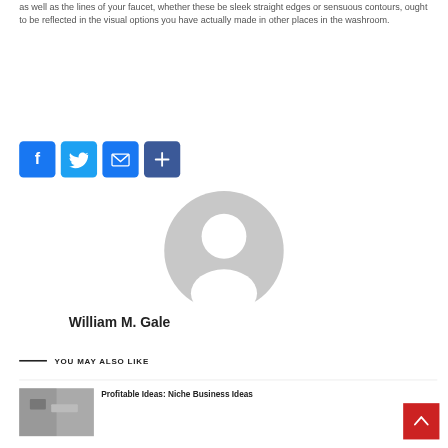as well as the lines of your faucet, whether these be sleek straight edges or sensuous contours, ought to be reflected in the visual options you have actually made in other places in the washroom.
[Figure (infographic): Social sharing buttons: Facebook (blue), Twitter (light blue), Email (blue), Share/Plus (dark blue)]
[Figure (photo): Generic user avatar - grey circular silhouette with person icon]
William M. Gale
YOU MAY ALSO LIKE
[Figure (photo): Thumbnail image for article about niche business ideas]
Profitable Ideas: Niche Business Ideas